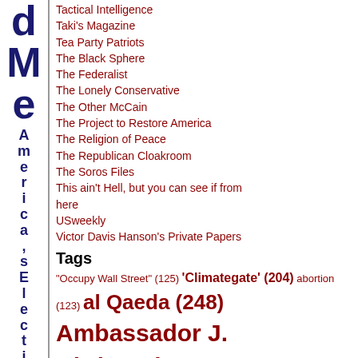Tactical Intelligence
Taki's Magazine
Tea Party Patriots
The Black Sphere
The Federalist
The Lonely Conservative
The Other McCain
The Project to Restore America
The Religion of Peace
The Republican Cloakroom
The Soros Files
This ain't Hell, but you can see if from here
USweekly
Victor Davis Hanson's Private Papers
Tags
"Occupy Wall Street" (125) 'Climategate' (204) abortion (123) al Qaeda (248) Ambassador J. Christopher Stevens (200) amnesty (229)